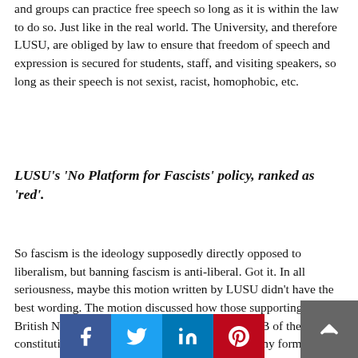and groups can practice free speech so long as it is within the law to do so. Just like in the real world. The University, and therefore LUSU, are obliged by law to ensure that freedom of speech and expression is secured for students, staff, and visiting speakers, so long as their speech is not sexist, racist, homophobic, etc.
LUSU's 'No Platform for Fascists' policy, ranked as 'red'.
So fascism is the ideology supposedly directly opposed to liberalism, but banning fascism is anti-liberal. Got it. In all seriousness, maybe this motion written by LUSU didn't have the best wording. The motion discussed how those supporting the British National Party, who in Section 1, Article 2B of their constitution say that they are 'wholly opposed to any form of racial integration between British and non-Eu[ropean]s [...] committed